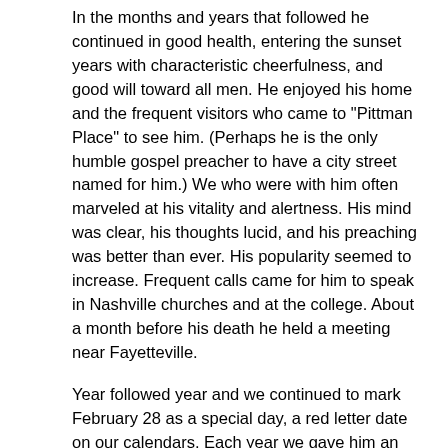In the months and years that followed he continued in good health, entering the sunset years with characteristic cheerfulness, and good will toward all men. He enjoyed his home and the frequent visitors who came to "Pittman Place" to see him. (Perhaps he is the only humble gospel preacher to have a city street named for him.) We who were with him often marveled at his vitality and alertness. His mind was clear, his thoughts lucid, and his preaching was better than ever. His popularity seemed to increase. Frequent calls came for him to speak in Nashville churches and at the college. About a month before his death he held a meeting near Fayetteville.
Year followed year and we continued to mark February 28 as a special day, a red letter date on our calendars. Each year we gave him an honoring dinner and other remembrances. In 1965 on his 89th birthday the celebration was held at the Brentwood Hills church. At that time some expressed the hope of being present when the numerals of his age would be reversed and we could celebrate his 98th anniversary. It did not seem unthinkable that he might reach that near-century milestone. He was sick very little in his long life. He had a remarkable ability to resist "common colds." He said he did not